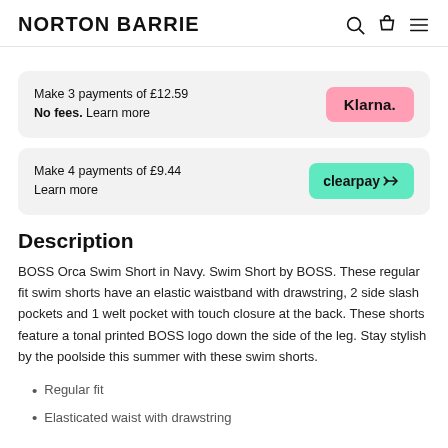NORTON BARRIE
Make 3 payments of £12.59
No fees. Learn more
[Figure (logo): Klarna pink badge logo]
Make 4 payments of £9.44
Learn more
[Figure (logo): Clearpay green badge logo]
Description
BOSS Orca Swim Short in Navy. Swim Short by BOSS. These regular fit swim shorts have an elastic waistband with drawstring, 2 side slash pockets and 1 welt pocket with touch closure at the back. These shorts feature a tonal printed BOSS logo down the side of the leg. Stay stylish by the poolside this summer with these swim shorts.
Regular fit
Elasticated waist with drawstring